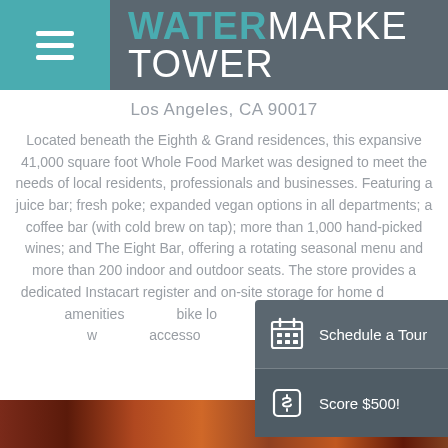WATERMARKE TOWER
Los Angeles, CA 90017
Located beneath the Eighth & Grand residences, this expansive 41,000 square foot Whole Food Market was designed to meet the needs of local residents, professionals and businesses. Featuring a juice bar; fresh poke; expanded vegan options in all departments; a coffee bar (with cold brew on tap); more than 1,000 hand-picked wines; and The Eight Bar, offering a rotating seasonal menu and more than 200 indoor and outdoor seats. The store provides a dedicated Instacart register and on-site storage for home delivery. The building amenities include bike lockers with repair stations; Wi-Fi; and a pet-friendly common spot with easy elevator access, accessible bike storage, and a hair salon.
[Figure (screenshot): Popup overlay with two action buttons: Schedule a Tour (calendar icon) and Score $500! (tag/dollar icon)]
[Figure (photo): Photo strip at the bottom of the page showing food/restaurant imagery]